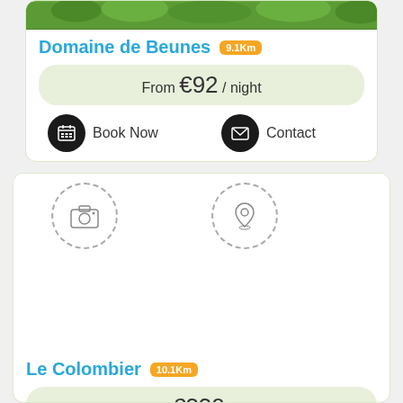[Figure (photo): Green foliage/garden photo at top of card 1]
Domaine de Beunes 9.1Km
From €92 / night
Book Now   Contact
[Figure (infographic): Listing card for Le Colombier with camera icon and map pin icon placeholders, no photo loaded]
Le Colombier 10.1Km
From €330 / night